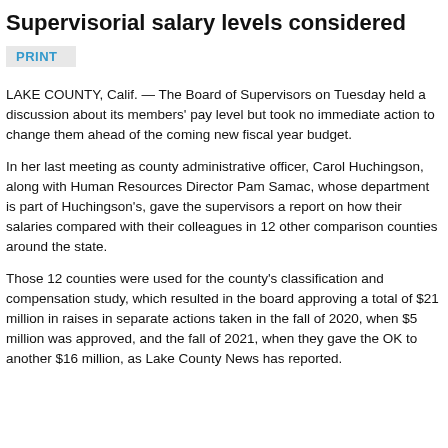Supervisorial salary levels considered
PRINT
LAKE COUNTY, Calif. — The Board of Supervisors on Tuesday held a discussion about its members' pay level but took no immediate action to change them ahead of the coming new fiscal year budget.
In her last meeting as county administrative officer, Carol Huchingson, along with Human Resources Director Pam Samac, whose department is part of Huchingson's, gave the supervisors a report on how their salaries compared with their colleagues in 12 other comparison counties around the state.
Those 12 counties were used for the county's classification and compensation study, which resulted in the board approving a total of $21 million in raises in separate actions taken in the fall of 2020, when $5 million was approved, and the fall of 2021, when they gave the OK to another $16 million, as Lake County News has reported.